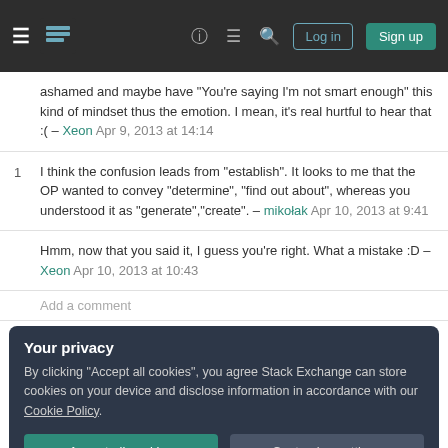Stack Exchange navigation bar with Log in and Sign up buttons
ashamed and maybe have "You're saying I'm not smart enough" this kind of mindset thus the emotion. I mean, it's real hurtful to hear that :( – Xeon Apr 9, 2013 at 14:14
1  I think the confusion leads from "establish". It looks to me that the OP wanted to convey "determine", "find out about", whereas you understood it as "generate","create". – mikołak Apr 10, 2013 at 9:41
Hmm, now that you said it, I guess you're right. What a mistake :D – Xeon Apr 10, 2013 at 10:43
Add a comment
Your privacy
By clicking "Accept all cookies", you agree Stack Exchange can store cookies on your device and disclose information in accordance with our Cookie Policy.
Accept all cookies
Customize settings
3D modelling and the use of middleware (e.g.